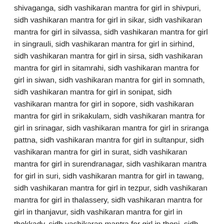shivaganga, sidh vashikaran mantra for girl in shivpuri, sidh vashikaran mantra for girl in sikar, sidh vashikaran mantra for girl in silvassa, sidh vashikaran mantra for girl in singrauli, sidh vashikaran mantra for girl in sirhind, sidh vashikaran mantra for girl in sirsa, sidh vashikaran mantra for girl in sitamrahi, sidh vashikaran mantra for girl in siwan, sidh vashikaran mantra for girl in somnath, sidh vashikaran mantra for girl in sonipat, sidh vashikaran mantra for girl in sopore, sidh vashikaran mantra for girl in srikakulam, sidh vashikaran mantra for girl in srinagar, sidh vashikaran mantra for girl in sriranga pattna, sidh vashikaran mantra for girl in sultanpur, sidh vashikaran mantra for girl in surat, sidh vashikaran mantra for girl in surendranagar, sidh vashikaran mantra for girl in suri, sidh vashikaran mantra for girl in tawang, sidh vashikaran mantra for girl in tezpur, sidh vashikaran mantra for girl in thalassery, sidh vashikaran mantra for girl in thanjavur, sidh vashikaran mantra for girl in thekkady, sidh vashikaran mantra for girl in theni, sidh vashikaran mantra for girl in thiruvananthpuram, sidh vashikaran mantra for girl in thiruvannamalai, sidh vashikaran mantra for girl in thiruvannamalai, sidh